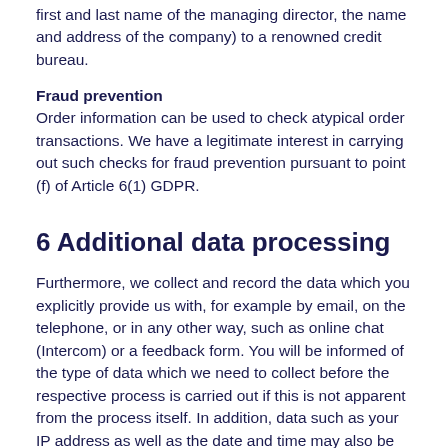first and last name of the managing director, the name and address of the company) to a renowned credit bureau.
Fraud prevention
Order information can be used to check atypical order transactions. We have a legitimate interest in carrying out such checks for fraud prevention pursuant to point (f) of Article 6(1) GDPR.
6 Additional data processing
Furthermore, we collect and record the data which you explicitly provide us with, for example by email, on the telephone, or in any other way, such as online chat (Intercom) or a feedback form. You will be informed of the type of data which we need to collect before the respective process is carried out if this is not apparent from the process itself. In addition, data such as your IP address as well as the date and time may also be collected. If third-party communication software is used, the third-party